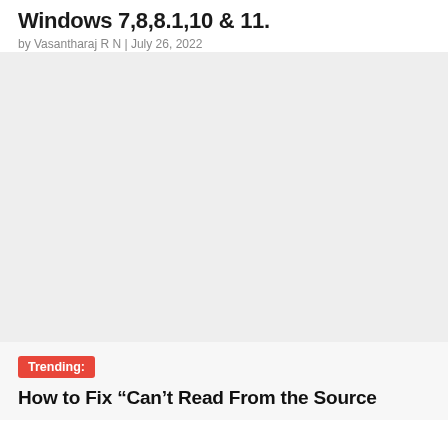Windows 7,8,8.1,10 & 11.
by Vasantharaj R N | July 26, 2022
[Figure (photo): Large grey placeholder image area for article content]
Trending:
How to Fix “Can’t Read From the Source